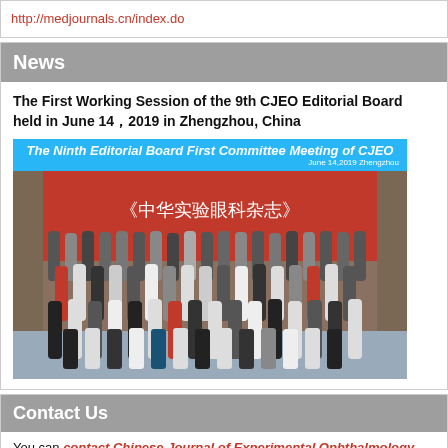http://medjournals.cn/index.do
News
The First Working Session of the 9th CJEO Editorial Board held in June 14，2019 in Zhengzhou, China
[Figure (photo): Group photo of The Ninth Editorial Board First Committee Meeting of CJEO, June 14, 2019, Zhengzhou, showing approximately 60 attendees posed in rows in front of a red banner with Chinese text.]
Contact Us
You can contact Chinese Journal of Experimental Ophthalmology